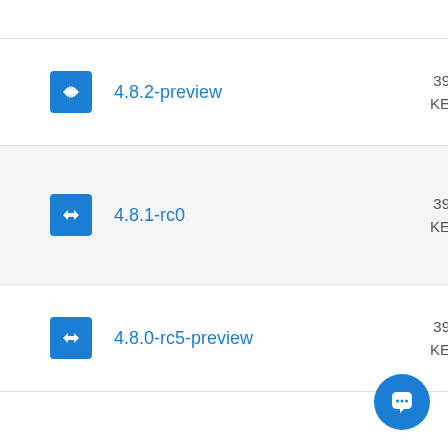4.8.2-preview
4.8.1-rc0
4.8.0-rc5-preview